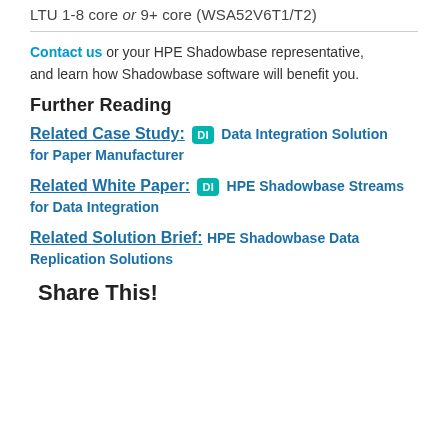LTU 1-8 core or 9+ core (WSA52V6T1/T2)
Contact us or your HPE Shadowbase representative, and learn how Shadowbase software will benefit you.
Further Reading
Related Case Study: [DI] Data Integration Solution for Paper Manufacturer
Related White Paper: [DI] HPE Shadowbase Streams for Data Integration
Related Solution Brief: HPE Shadowbase Data Replication Solutions
Share This!